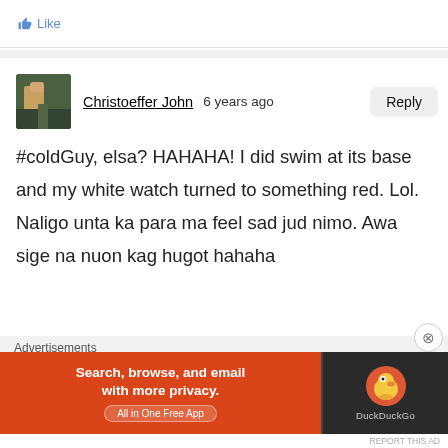Like
Christoeffer John  6 years ago
#coldGuy, elsa? HAHAHA! I did swim at its base and my white watch turned to something red. Lol. Naligo unta ka para ma feel sad jud nimo. Awa sige na nuon kag hugot hahaha
Advertisements
[Figure (screenshot): DuckDuckGo advertisement banner: orange section with text 'Search, browse, and email with more privacy. All in One Free App', dark section with DuckDuckGo duck logo and brand name]